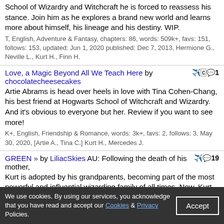School of Wizardry and Witchcraft he is forced to reassess his stance. Join him as he explores a brand new world and learns more about himself, his lineage and his destiny. WIP.
T, English, Adventure & Fantasy, chapters: 86, words: 509k+, favs: 151, follows: 153, updated: Jun 1, 2020 published: Dec 7, 2013, Hermione G., Neville L., Kurt H., Finn H.
Love, a Magic Beyond All We Teach Here by chocolatecheesecakes Artie Abrams is head over heels in love with Tina Cohen-Chang, his best friend at Hogwarts School of Witchcraft and Wizardry. And it's obvious to everyone but her. Review if you want to see more!
K+, English, Friendship & Romance, words: 3k+, favs: 2, follows: 3, May 30, 2020, [Artie A., Tina C.] Kurt H., Mercedes J.
GREEN » by LiliacSkies AU: Following the death of his mother, Kurt is adopted by his grandparents, becoming part of the most powerful and influential wizarding family of all times. Now, Kurt Vinson makes his way into his sixth year in Hogwarts with his Slytherin friends by his side, but will a certain Hufflepuff put his morals and his status to question?
T, English, Drama & Fantasy, chapters: 7, words: 20k+, favs: 10, follows: 10, updated: Mar 19, 2020 published: May 8, 2019
I want to be free » by darksider82 Voldemorts done. Harry's had enough and takes a one way trip out to America destination Lima Ohio. "Welcome to the Glee Club Mr. Potter." I know nothing of glee. Will
We use cookies. By using our services, you acknowledge that you have read and accept our Cookies & Privacy Policies.